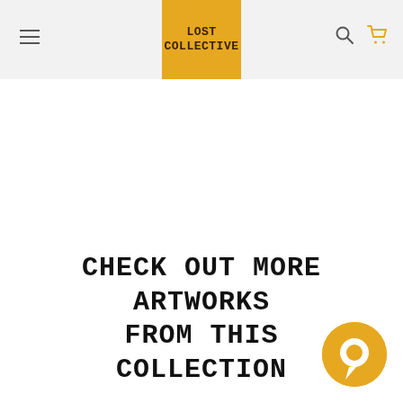[Figure (logo): Lost Collective logo — orange/amber square with bold monospace text 'LOST COLLECTIVE' in dark brown]
CHECK OUT MORE ARTWORKS FROM THIS COLLECTION
[Figure (illustration): Orange circular chat bubble icon in the bottom-right corner]